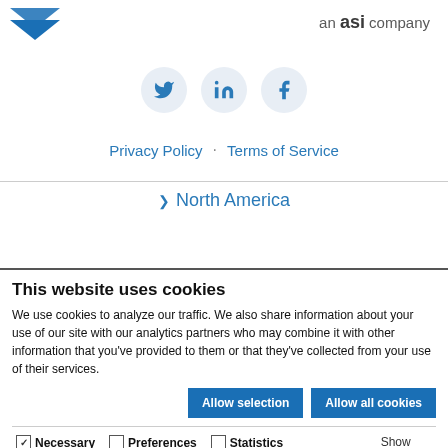[Figure (logo): Company logo with blue chevron/arrow mark on left and 'an asi company' text on right]
[Figure (infographic): Three social media icons in light blue circles: Twitter bird, LinkedIn 'in', Facebook 'f']
Privacy Policy · Terms of Service
v  North America
This website uses cookies
We use cookies to analyze our traffic. We also share information about your use of our site with our analytics partners who may combine it with other information that you've provided to them or that they've collected from your use of their services.
Allow selection   Allow all cookies
✓ Necessary   Preferences   Statistics   Marketing   Show details